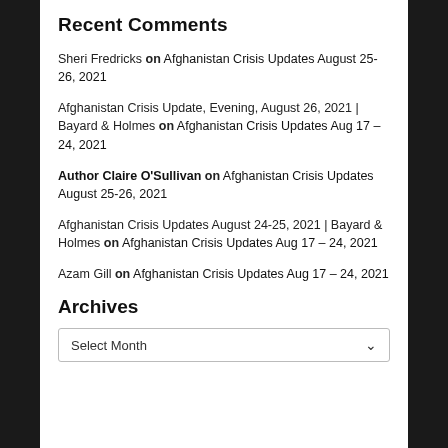Recent Comments
Sheri Fredricks on Afghanistan Crisis Updates August 25-26, 2021
Afghanistan Crisis Update, Evening, August 26, 2021 | Bayard & Holmes on Afghanistan Crisis Updates Aug 17 – 24, 2021
Author Claire O'Sullivan on Afghanistan Crisis Updates August 25-26, 2021
Afghanistan Crisis Updates August 24-25, 2021 | Bayard & Holmes on Afghanistan Crisis Updates Aug 17 – 24, 2021
Azam Gill on Afghanistan Crisis Updates Aug 17 – 24, 2021
Archives
Select Month